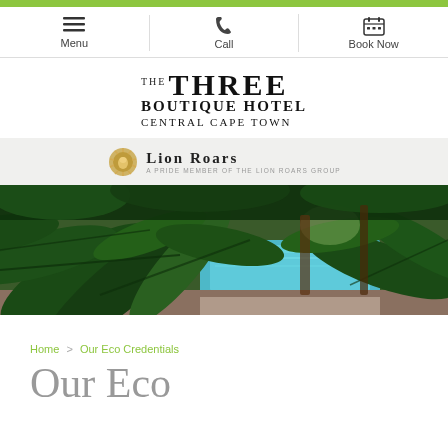Menu | Call | Book Now
THE THREE BOUTIQUE HOTEL CENTRAL CAPE TOWN
[Figure (logo): Lion Roars - A Pride Member of the Lion Roars Group logo]
[Figure (photo): Tropical garden with large palm/banana leaves and a swimming pool visible in the background]
Home > Our Eco Credentials
Our Eco